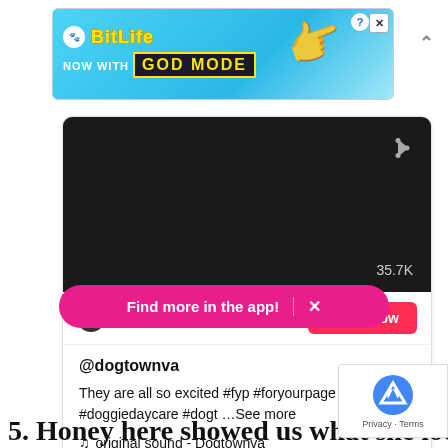[Figure (screenshot): BitLife advertisement banner with 'NOW WITH GOD MODE' text on blue background with pointing hand graphic]
[Figure (screenshot): TikTok embedded video card showing a dark video thumbnail with 35.7K shares, username @dogtownva, description text with hashtags, and a 'Watch now' button]
Find more in the app! ×
5. Honey here showed us what she looks